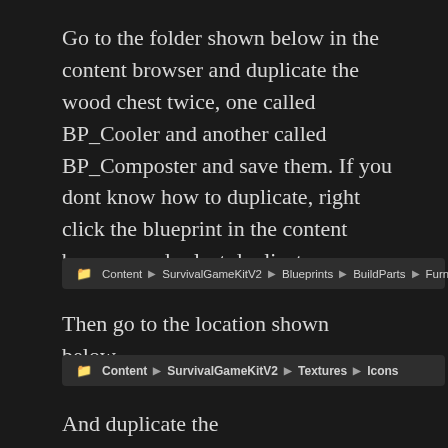Go to the folder shown below in the content browser and duplicate the wood chest twice, one called BP_Cooler and another called BP_Composter and save them. If you dont know how to duplicate, right click the blueprint in the content browser and select duplicate.
[Figure (screenshot): Breadcrumb navigation bar showing: Content > SurvivalGameKitV2 > Blueprints > BuildParts > Furniture]
Then go to the location shown below.
[Figure (screenshot): Breadcrumb navigation bar showing: Content > SurvivalGameKitV2 > Textures > Icons]
And duplicate the T_Apple_01_InvIcon, call the